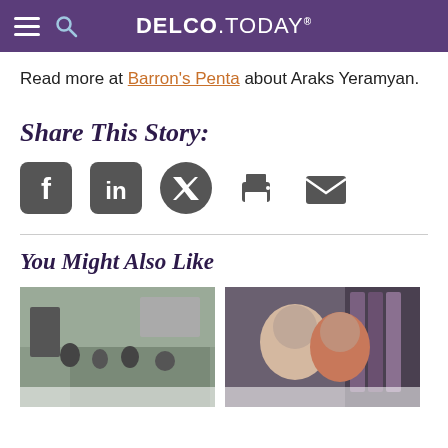DELCO.TODAY
Read more at Barron's Penta about Araks Yeramyan.
Share This Story:
[Figure (infographic): Social sharing icons: Facebook, LinkedIn, Twitter, Print, Email]
You Might Also Like
[Figure (photo): Left thumbnail: people gathered in a room, someone presenting/performing]
[Figure (photo): Right thumbnail: an older man and a woman with red hair smiling together in front of a bookshelf]